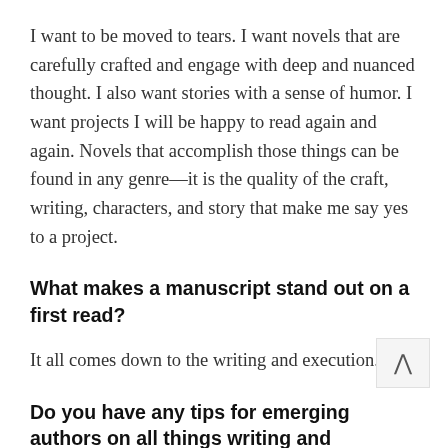I want to be moved to tears. I want novels that are carefully crafted and engage with deep and nuanced thought. I also want stories with a sense of humor. I want projects I will be happy to read again and again. Novels that accomplish those things can be found in any genre—it is the quality of the craft, writing, characters, and story that make me say yes to a project.
What makes a manuscript stand out on a first read?
It all comes down to the writing and execution.
Do you have any tips for emerging authors on all things writing and publishing?
I think it is vital to know your market inside and out. Know